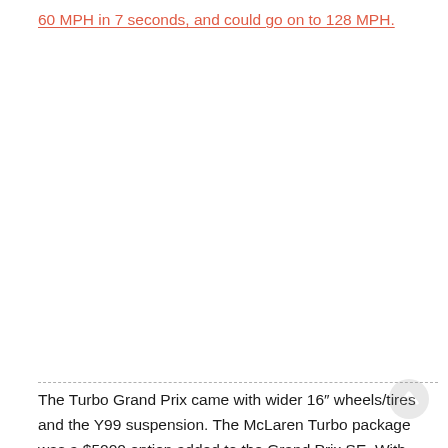60 MPH in 7 seconds, and could go on to 128 MPH.
The Turbo Grand Prix came with wider 16″ wheels/tires and the Y99 suspension. The McLaren Turbo package was a $5000 option added to the Grand Prix SE. With